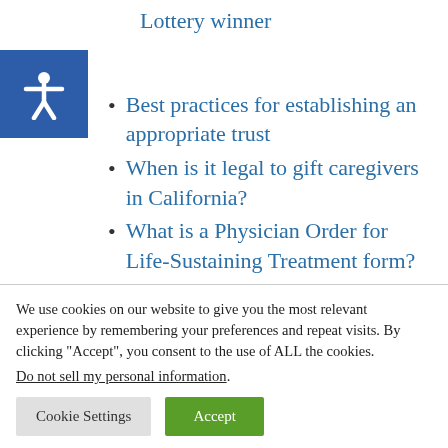Lottery winner
Best practices for establishing an appropriate trust
When is it legal to gift caregivers in California?
What is a Physician Order for Life-Sustaining Treatment form?
A new method of probate avoidance for homeowners in California
We use cookies on our website to give you the most relevant experience by remembering your preferences and repeat visits. By clicking “Accept”, you consent to the use of ALL the cookies.
Do not sell my personal information.